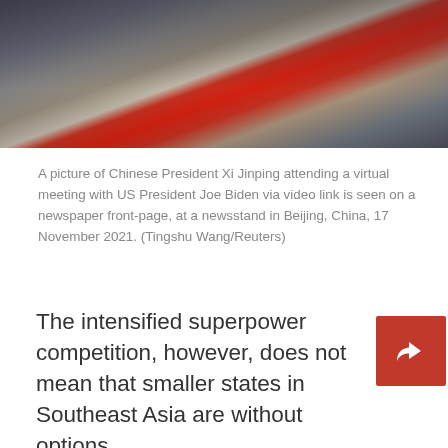[Figure (photo): A newspaper on a stand showing a front page with Chinese flags visible; photographed at a newsstand in Beijing, China on 17 November 2021.]
A picture of Chinese President Xi Jinping attending a virtual meeting with US President Joe Biden via video link is seen on a newspaper front-page, at a newsstand in Beijing, China, 17 November 2021. (Tingshu Wang/Reuters)
The intensified superpower competition, however, does not mean that smaller states in Southeast Asia are without options.
Vietnam and Singapore present classic examples of smaller states which are orchestrating manoeuvres that provide a modicum of agency. In fact, they have elevated their game: not merely a position of "taking no